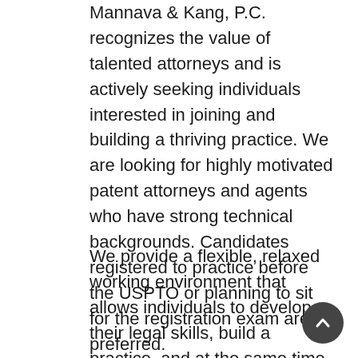Mannava & Kang, P.C. recognizes the value of talented attorneys and is actively seeking individuals interested in joining and building a thriving practice. We are looking for highly motivated patent attorneys and agents who have strong technical backgrounds. Candidates registered to practice before the USPTO or planning to sit for the registration exam are preferred.
We provide a flexible, relaxed working environment that allows individuals to develop their legal skills, build a practice, and at the same time enjoy life outside the firm.